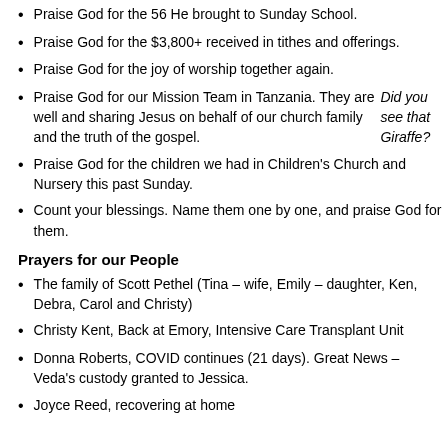Praise God for the 56 He brought to Sunday School.
Praise God for the $3,800+ received in tithes and offerings.
Praise God for the joy of worship together again.
Praise God for our Mission Team in Tanzania. They are well and sharing Jesus on behalf of our church family and the truth of the gospel. Did you see that Giraffe?
Praise God for the children we had in Children's Church and Nursery this past Sunday.
Count your blessings. Name them one by one, and praise God for them.
Prayers for our People
The family of Scott Pethel (Tina – wife, Emily – daughter, Ken, Debra, Carol and Christy)
Christy Kent, Back at Emory, Intensive Care Transplant Unit
Donna Roberts, COVID continues (21 days). Great News – Veda's custody granted to Jessica.
Joyce Reed, recovering at home